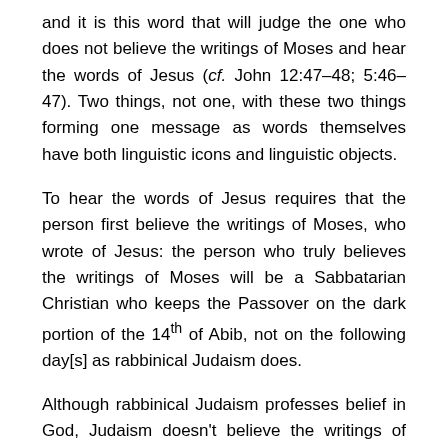and it is this word that will judge the one who does not believe the writings of Moses and hear the words of Jesus (cf. John 12:47–48; 5:46–47). Two things, not one, with these two things forming one message as words themselves have both linguistic icons and linguistic objects.
To hear the words of Jesus requires that the person first believe the writings of Moses, who wrote of Jesus: the person who truly believes the writings of Moses will be a Sabbatarian Christian who keeps the Passover on the dark portion of the 14th of Abib, not on the following day[s] as rabbinical Judaism does.
Although rabbinical Judaism professes belief in God, Judaism doesn't believe the writings of Moses; nor does rabbinical Judaism understand Moses and the covenants mediated by Moses: rabbinical Judaism adheres to the